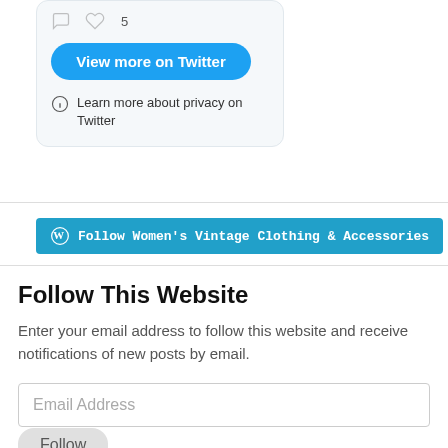[Figure (screenshot): Twitter widget card with comment and heart icons (heart showing count 5), a blue 'View more on Twitter' button, and an info icon with 'Learn more about privacy on Twitter' text]
[Figure (screenshot): WordPress Follow button with WordPress logo icon and text 'Follow Women's Vintage Clothing & Accessories' on a teal background]
Follow This Website
Enter your email address to follow this website and receive notifications of new posts by email.
Email Address
Follow